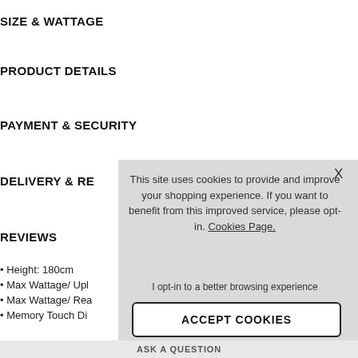SIZE & WATTAGE
PRODUCT DETAILS
PAYMENT & SECURITY
DELIVERY & RE…
REVIEWS
• Height: 180cm
• Max Wattage/ Upl…
• Max Wattage/ Rea…
• Memory Touch Di…
This site uses cookies to provide and improve your shopping experience. If you want to benefit from this improved service, please opt-in. Cookies Page.
I opt-in to a better browsing experience
ACCEPT COOKIES
ASK A QUESTION